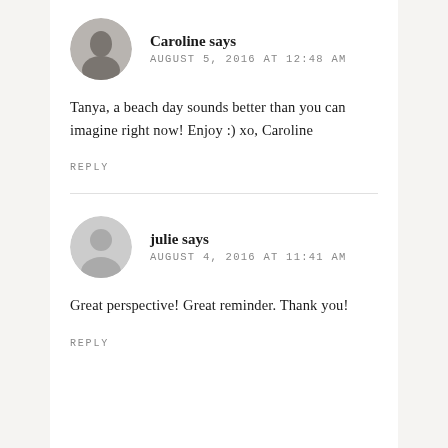[Figure (photo): Circular avatar photo of Caroline, a woman, grayscale]
Caroline says
AUGUST 5, 2016 AT 12:48 AM
Tanya, a beach day sounds better than you can imagine right now! Enjoy :) xo, Caroline
REPLY
[Figure (illustration): Generic circular avatar placeholder icon, gray silhouette]
julie says
AUGUST 4, 2016 AT 11:41 AM
Great perspective! Great reminder. Thank you!
REPLY